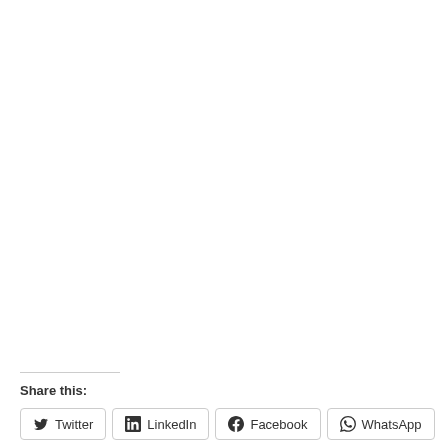Share this:
Twitter
LinkedIn
Facebook
WhatsApp